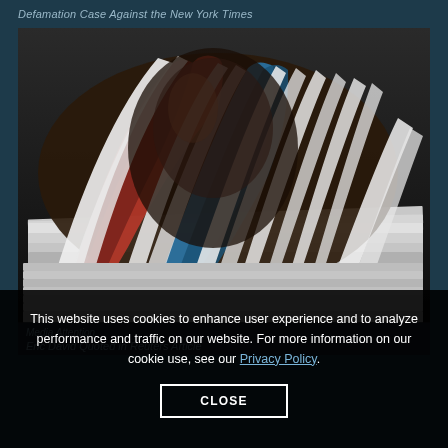Defamation Case Against the New York Times
[Figure (photo): A stack of open magazines fanned out, showing colorful spines with pages splayed open, photographed close-up against a dark background.]
Media Attention
Eric David Quoted in Reuters Article
This website uses cookies to enhance user experience and to analyze performance and traffic on our website. For more information on our cookie use, see our Privacy Policy.
CLOSE